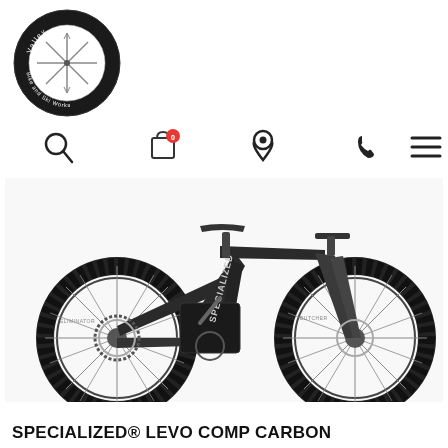[Figure (logo): Valley bike shop circular logo with snowflake/compass rose design and text around the border]
[Figure (infographic): Navigation icon bar with search magnifying glass, shopping bag with red badge showing 0, map pin/location icon, phone icon, and hamburger menu icon]
[Figure (photo): Specialized Levo Comp Carbon electric mountain bike in matte black, side profile view showing full suspension, large knobby tires with Eliminator and Butcher tread, SRAM drivetrain, dropper post, and Specialized branding on the down tube]
SPECIALIZED® LEVO COMP CARBON